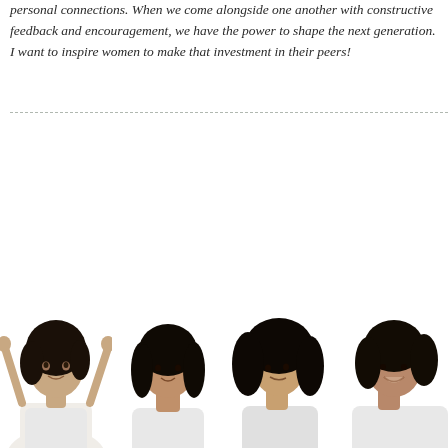personal connections. When we come alongside one another with constructive feedback and encouragement, we have the power to shape the next generation. I want to inspire women to make that investment in their peers!
[Figure (photo): Four portrait photos of women with dark hair arranged in a horizontal strip at the bottom of the page, each partially cropped]